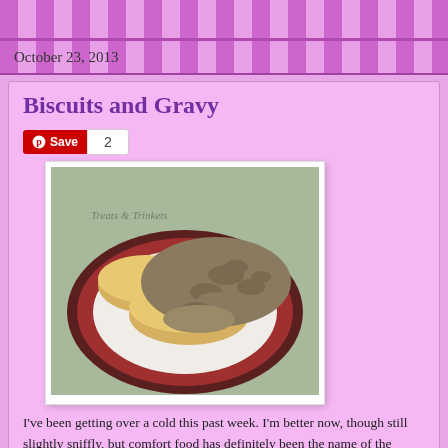October 23, 2013
Biscuits and Gravy
[Figure (photo): A plate of biscuits and gravy — golden biscuits topped with chunky sausage gravy on a red-rimmed white plate, with a watermark reading 'Treats & Trinkets']
I've been getting over a cold this past week. I'm better now, though still slightly sniffly, but comfort food has definitely been the name of the game.
I had defrosted a pound of sausage meat earlier with all of the